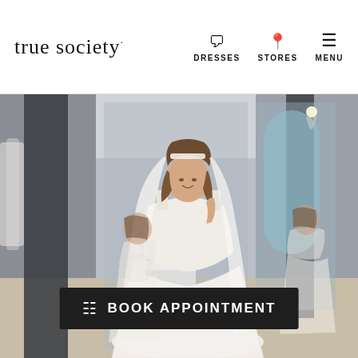true society | DRESSES | STORES | MENU
[Figure (photo): A bride in a fitted beaded mermaid wedding dress with a long veil, smiling in a bridal boutique fitting room. Mirrors reflect her from the back and side. A white vanity table is visible in the background.]
BOOK APPOINTMENT